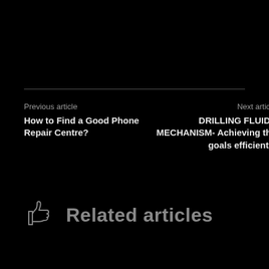Previous article
How to Find a Good Phone Repair Centre?
Next article
DRILLING FLUIDS MECHANISM- Achieving the goals efficiently
Related articles